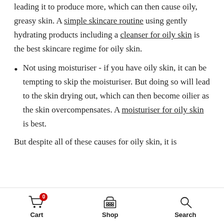leading it to produce more, which can then cause oily, greasy skin. A simple skincare routine using gently hydrating products including a cleanser for oily skin is the best skincare regime for oily skin.
Not using moisturiser - if you have oily skin, it can be tempting to skip the moisturiser. But doing so will lead to the skin drying out, which can then become oilier as the skin overcompensates. A moisturiser for oily skin is best.
But despite all of these causes for oily skin, it is
Cart  Shop  Search